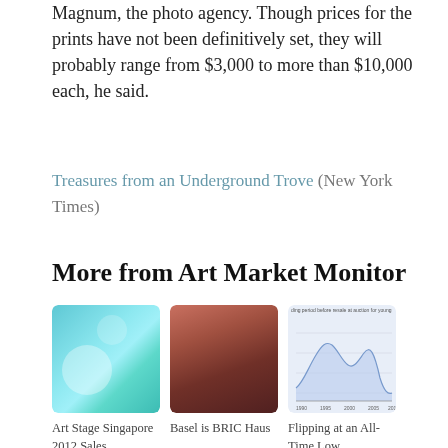Magnum, the photo agency. Though prices for the prints have not been definitively set, they will probably range from $3,000 to more than $10,000 each, he said.
Treasures from an Underground Trove (New York Times)
More from Art Market Monitor
[Figure (photo): Teal/cyan bokeh abstract background image]
Art Stage Singapore 2012 Sales
[Figure (photo): Brown/dark red gradient abstract background image]
Basel is BRIC Haus
[Figure (continuous-plot): Line chart showing flipping/holding period before resale at auction for young artists over time (approx 1990–2010)]
Flipping at an All-Time Low, According to Tutela Capital